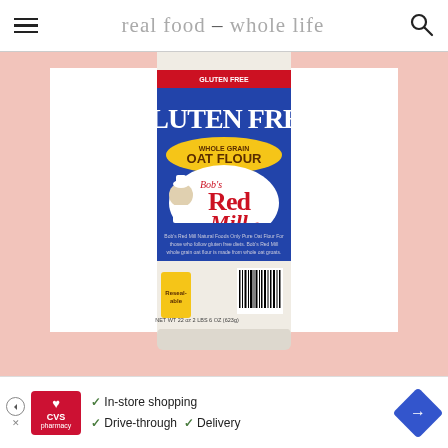real food – whole life
[Figure (photo): Bob's Red Mill Gluten Free Whole Grain Oat Flour bag on a white background with salmon/pink border]
In-store shopping  Drive-through  Delivery (CVS advertisement)